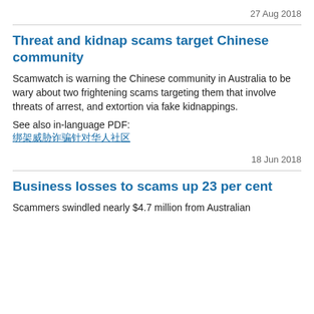27 Aug 2018
Threat and kidnap scams target Chinese community
Scamwatch is warning the Chinese community in Australia to be wary about two frightening scams targeting them that involve threats of arrest, and extortion via fake kidnappings.
See also in-language PDF:
绑架威胁诈骗针对华人社区
18 Jun 2018
Business losses to scams up 23 per cent
Scammers swindled nearly $4.7 million from Australian